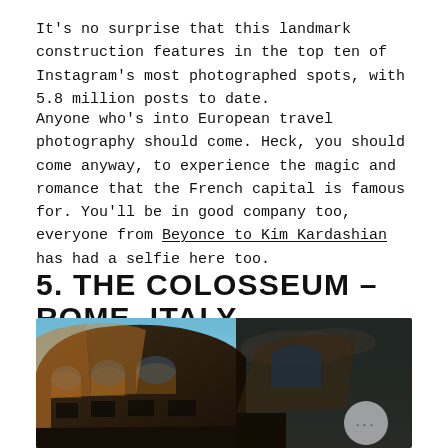It's no surprise that this landmark construction features in the top ten of Instagram's most photographed spots, with 5.8 million posts to date.
Anyone who's into European travel photography should come. Heck, you should come anyway, to experience the magic and romance that the French capital is famous for. You'll be in good company too, everyone from Beyonce to Kim Kardashian has had a selfie here too.
5. THE COLOSSEUM – ROME, ITALY
[Figure (photo): Low-angle photograph of the Colosseum in Rome, lit with warm golden light against a blue sky with clouds. A circular chat/menu button with ellipsis (…) is overlaid in the lower right of the image.]